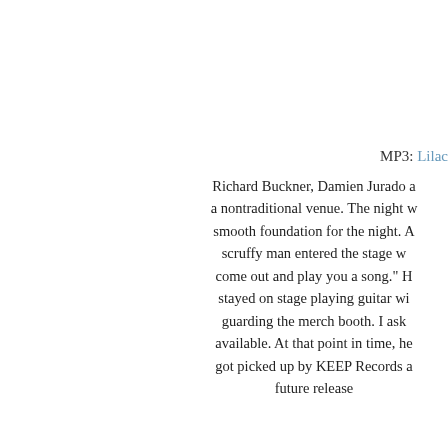MP3: Lilac
Richard Buckner, Damien Jurado a a nontraditional venue. The night w smooth foundation for the night. A scruffy man entered the stage w come out and play you a song." H stayed on stage playing guitar wi guarding the merch booth. I ask available. At that point in time, he got picked up by KEEP Records a future release
Jack
MP3: The Ha
People aren't making records w record is felt with each additional the listener are an anthology of p record that Ryan has recorded s